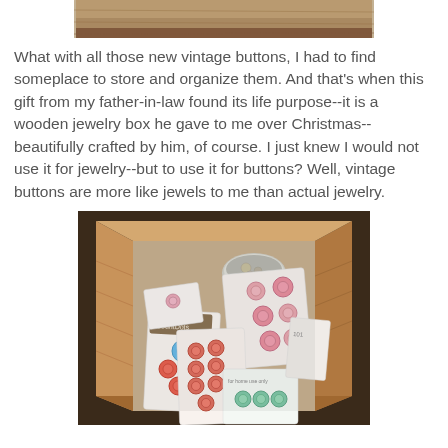[Figure (photo): Partial photo at top showing a wooden surface, cropped.]
What with all those new vintage buttons, I had to find someplace to store and organize them. And that's when this gift from my father-in-law found its life purpose--it is a wooden jewelry box he gave to me over Christmas--beautifully crafted by him, of course. I just knew I would not use it for jewelry--but to use it for buttons? Well, vintage buttons are more like jewels to me than actual jewelry.
[Figure (photo): Photo of an open wooden jewelry box containing multiple cards of vintage buttons in pink, coral, blue, and mint green colors, along with a small tin of buttons.]